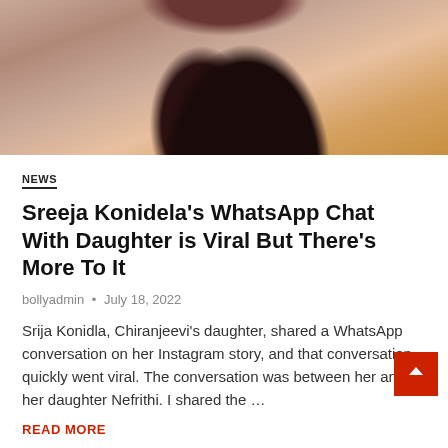[Figure (photo): Photo of a woman with dark hair wearing a pink outfit, partial view showing face and shoulder area with colorful background]
NEWS
Sreeja Konidela's WhatsApp Chat With Daughter is Viral But There's More To It
bollyadmin • July 18, 2022
Srija Konidla, Chiranjeevi's daughter, shared a WhatsApp conversation on her Instagram story, and that conversation quickly went viral. The conversation was between her and her daughter Nefrithi. I shared the ...
READ MORE
chat • Chiranjeevi • Daughter • Kalyan • Kalyan Dev • Konidelas • Marriage • Nephrithi • seriga • Sirish Produyng • Sreeja • Srija Konidla • Viral • WhatsApp